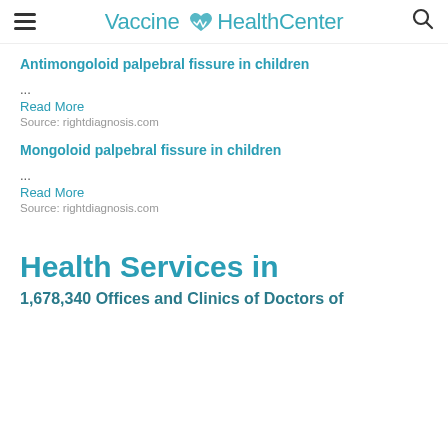Vaccine HealthCenter
Antimongoloid palpebral fissure in children
...
Read More
Source: rightdiagnosis.com
Mongoloid palpebral fissure in children
...
Read More
Source: rightdiagnosis.com
Health Services in
1,678,340 Offices and Clinics of Doctors of